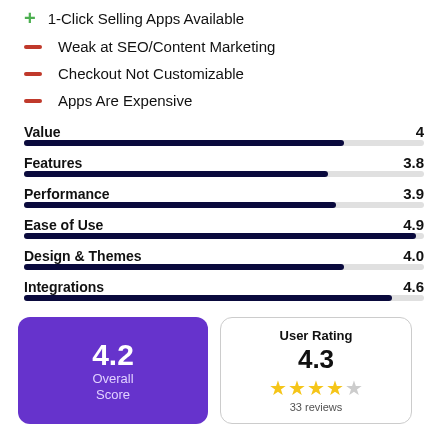1-Click Selling Apps Available
Weak at SEO/Content Marketing
Checkout Not Customizable
Apps Are Expensive
[Figure (bar-chart): Ratings by Category]
4.2 Overall Score
User Rating 4.3 33 reviews